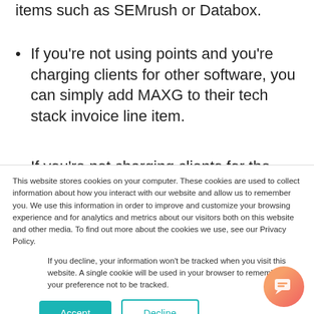items such as SEMrush or Databox.
If you're not using points and you're charging clients for other software, you can simply add MAXG to their tech stack invoice line item.
If you're not charging clients for the other
This website stores cookies on your computer. These cookies are used to collect information about how you interact with our website and allow us to remember you. We use this information in order to improve and customize your browsing experience and for analytics and metrics about our visitors both on this website and other media. To find out more about the cookies we use, see our Privacy Policy.
If you decline, your information won't be tracked when you visit this website. A single cookie will be used in your browser to remember your preference not to be tracked.